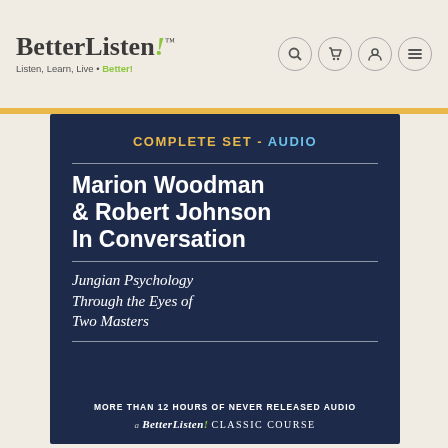BetterListen! ™ — Listen, Learn, Live • Better!
[Figure (illustration): Book/audio product cover on dark navy background. Text reads: COMPLETE SET - AUDIO / Marion Woodman & Robert Johnson In Conversation / Jungian Psychology Through the Eyes of Two Masters / MORE THAN 12 HOURS OF NEVER RELEASED AUDIO / A BetterListen! Classic Course]
Marion Woodman & Robert Johnson In Conversation
Jungian Psychology Through the Eyes of Two Masters
MORE THAN 12 HOURS OF NEVER RELEASED AUDIO
A BetterListen! Classic Course